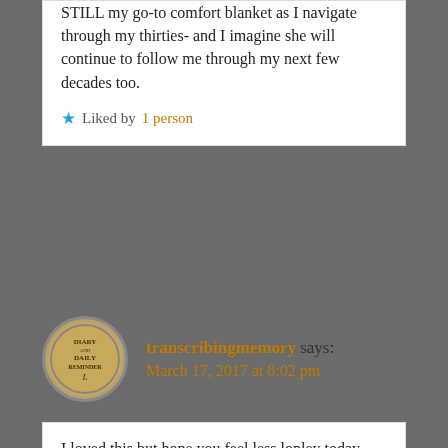STILL my go-to comfort blanket as I navigate through my thirties- and I imagine she will continue to follow me through my next few decades too.
Liked by 1 person
Reply
transcribingmemory says:
March 17, 2017 at 8:02 pm
I loved this but hope you feel less lonley today and less the next day. I look forward to following.
Liked by 1 person